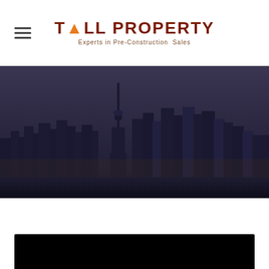[Figure (logo): Tall Property logo with flame icon and tagline 'Experts in Pre-Construction Sales']
[Figure (photo): Toronto city skyline at dusk with CN Tower, reflected in water, dark moody tones]
Format Group
[Figure (screenshot): Black video player block at the bottom of the page]